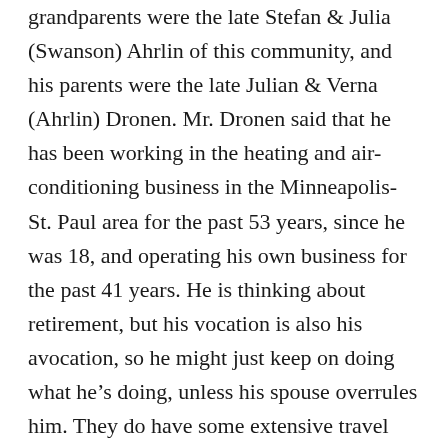grandparents were the late Stefan & Julia (Swanson) Ahrlin of this community, and his parents were the late Julian & Verna (Ahrlin) Dronen. Mr. Dronen said that he has been working in the heating and air-conditioning business in the Minneapolis-St. Paul area for the past 53 years, since he was 18, and operating his own business for the past 41 years. He is thinking about retirement, but his vocation is also his avocation, so he might just keep on doing what he's doing, unless his spouse overrules him. They do have some extensive travel plans for the next few years. He said that he likes to come back to Rutland once in a while, to reconnect with family history, and reminisce about “the good old days,” with Grandma, Grandpa and the cousins in the little city that can.